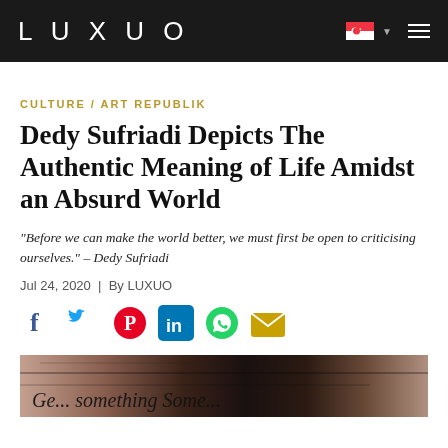LUXUO
CULTURE / ART REPUBLIK
Dedy Sufriadi Depicts The Authentic Meaning of Life Amidst an Absurd World
“Before we can make the world better, we must first be open to criticising ourselves.” – Dedy Sufriadi
Jul 24, 2020 | By LUXUO
[Figure (infographic): Social media share icons: Facebook, Twitter, Pinterest, LinkedIn, WhatsApp, Email]
[Figure (photo): Partial view of Dedy Sufriadi artwork with dark textures and handwritten text elements]